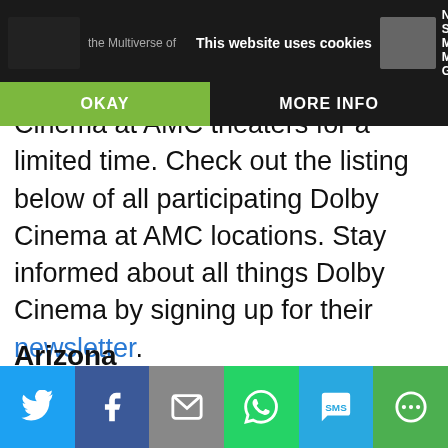This website uses cookies
the Multiverse of
New Spiderman Movie Makes Great
OKAY
MORE INFO
Cinema at AMC theaters for a limited time. Check out the listing below of all participating Dolby Cinema at AMC locations. Stay informed about all things Dolby Cinema by signing up for their newsletter.
Arizona
Twitter | Facebook | Email | WhatsApp | SMS | More